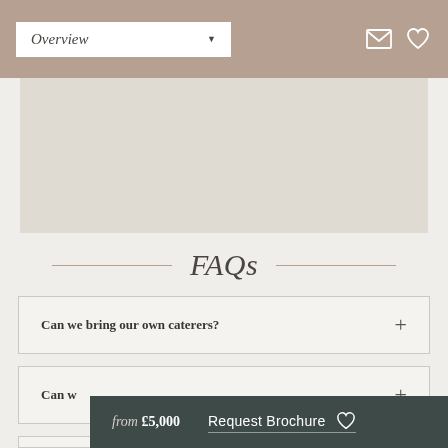Overview
[Figure (photo): A map or venue image placeholder area]
FAQs
Can we bring our own caterers?
Can w...
from £5,000  Request Brochure